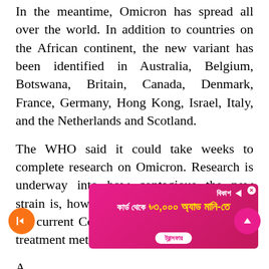In the meantime, Omicron has spread all over the world. In addition to countries on the African continent, the new variant has been identified in Australia, Belgium, Botswana, Britain, Canada, Denmark, France, Germany, Hong Kong, Israel, Italy, and the Netherlands and Scotland.
The WHO said it could take weeks to complete research on Omicron. Research is underway into how contagious the new strain is, how deadly it is, or how effective the current Covid vaccine, test method, and treatment method is against this strain.
A sta... ed on ... i... ng... are... logical
[Figure (other): Pink/magenta advertisement banner overlay with Bengali text reading 'কার্ড থেকে ৳৩,০০০ অ্যাড মানি-তে' in white and yellow, with Bkash logo and close button. Partially covers the bottom text.]